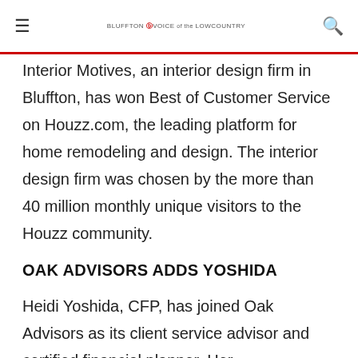≡  BLUFFTON TODAY VOICE of the LOWCOUNTRY  🔍
Interior Motives, an interior design firm in Bluffton, has won Best of Customer Service on Houzz.com, the leading platform for home remodeling and design. The interior design firm was chosen by the more than 40 million monthly unique visitors to the Houzz community.
OAK ADVISORS ADDS YOSHIDA
Heidi Yoshida, CFP, has joined Oak Advisors as its client service advisor and certified financial planner. Her responsibilities include client relationship management, client